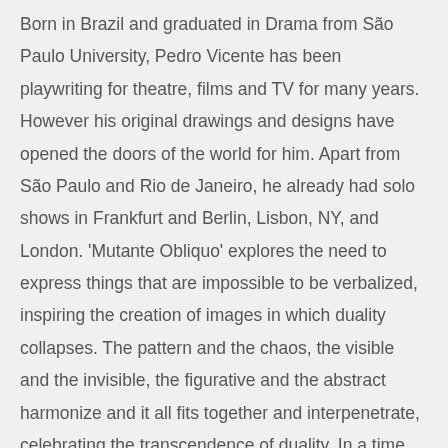Born in Brazil and graduated in Drama from São Paulo University, Pedro Vicente has been playwriting for theatre, films and TV for many years. However his original drawings and designs have opened the doors of the world for him. Apart from São Paulo and Rio de Janeiro, he already had solo shows in Frankfurt and Berlin, Lisbon, NY, and London. 'Mutante Obliquo' explores the need to express things that are impossible to be verbalized, inspiring the creation of images in which duality collapses. The pattern and the chaos, the visible and the invisible, the figurative and the abstract harmonize and it all fits together and interpenetrate, celebrating the transcendence of duality. In a time when the line of horizon is made